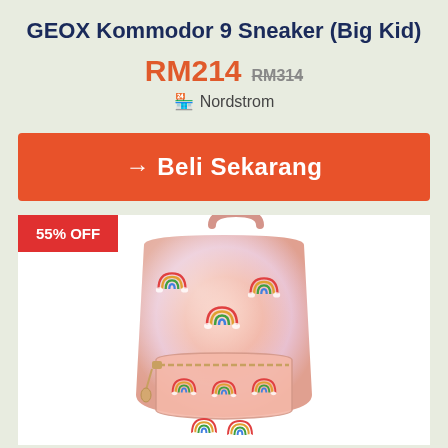GEOX Kommodor 9 Sneaker (Big Kid)
RM214 RM314
Nordstrom
→ Beli Sekarang
[Figure (photo): Pink iridescent backpack with rainbow cloud patches, front pocket with gold zipper, top handle, on a white background. Red badge showing 55% OFF in top left corner.]